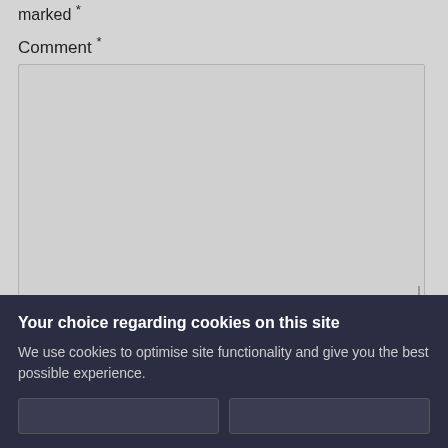marked *
Comment *
Name *
Your choice regarding cookies on this site
We use cookies to optimise site functionality and give you the best possible experience.